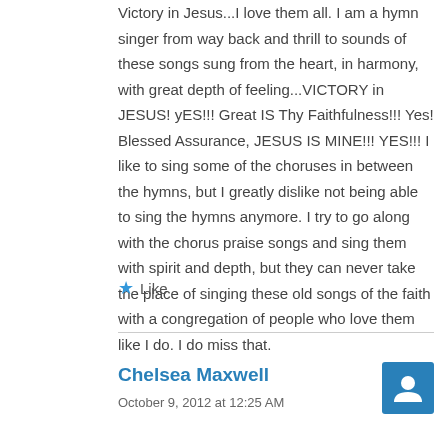Victory in Jesus...I love them all. I am a hymn singer from way back and thrill to sounds of these songs sung from the heart, in harmony, with great depth of feeling...VICTORY in JESUS! yES!!! Great IS Thy Faithfulness!!! Yes! Blessed Assurance, JESUS IS MINE!!! YES!!! I like to sing some of the choruses in between the hymns, but I greatly dislike not being able to sing the hymns anymore. I try to go along with the chorus praise songs and sing them with spirit and depth, but they can never take the place of singing these old songs of the faith with a congregation of people who love them like I do. I do miss that.
Like
Chelsea Maxwell
October 9, 2012 at 12:25 AM